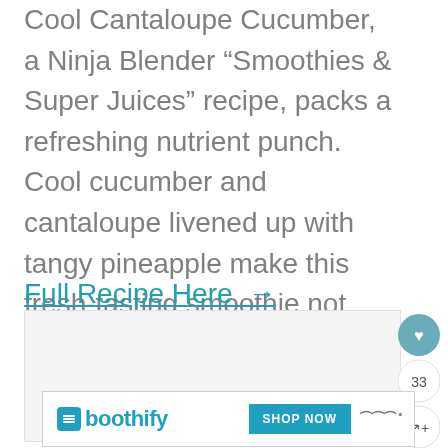Cool Cantaloupe Cucumber, a Ninja Blender “Smoothies & Super Juices” recipe, packs a refreshing nutrient punch. Cool cucumber and cantaloupe livened up with tangy pineapple make this fresh-tasting smoothie not only healthy, but delicious.
Full Recipe Here →
[Figure (photo): Light gray image placeholder area below the recipe description text]
[Figure (infographic): UI overlay buttons: heart/like button (teal), count showing 33, share button]
[Figure (screenshot): Advertisement banner for Boothify with SHOP NOW button and WW logo]